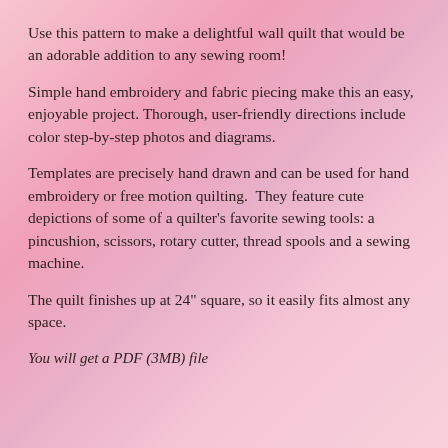Use this pattern to make a delightful wall quilt that would be an adorable addition to any sewing room!
Simple hand embroidery and fabric piecing make this an easy, enjoyable project. Thorough, user-friendly directions include color step-by-step photos and diagrams.
Templates are precisely hand drawn and can be used for hand embroidery or free motion quilting.  They feature cute depictions of some of a quilter's favorite sewing tools: a pincushion, scissors, rotary cutter, thread spools and a sewing machine.
The quilt finishes up at 24" square, so it easily fits almost any space.
You will get a PDF (3MB) file